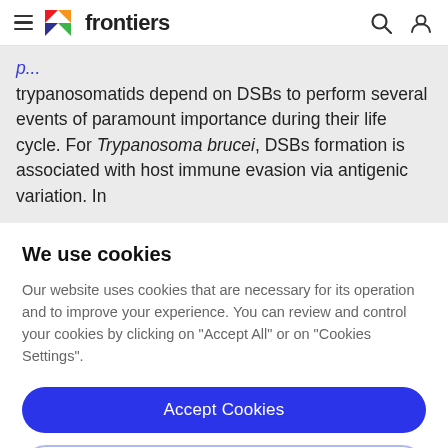frontiers
trypanosomatids depend on DSBs to perform several events of paramount importance during their life cycle. For Trypanosoma brucei, DSBs formation is associated with host immune evasion via antigenic variation. In
We use cookies
Our website uses cookies that are necessary for its operation and to improve your experience. You can review and control your cookies by clicking on "Accept All" or on "Cookies Settings".
Accept Cookies
Cookies Settings